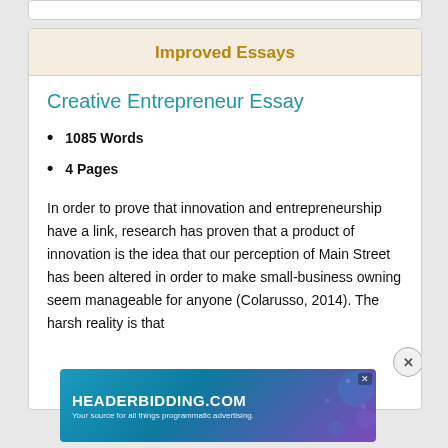Improved Essays
Creative Entrepreneur Essay
1085 Words
4 Pages
In order to prove that innovation and entrepreneurship have a link, research has proven that a product of innovation is the idea that our perception of Main Street has been altered in order to make small-business owning seem manageable for anyone (Colarusso, 2014). The harsh reality is that
[Figure (screenshot): Advertisement banner for HEADERBIDDING.COM with text 'Your source for all things programmatic advertising.' on a blue-purple gradient background]